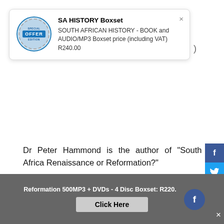[Figure (infographic): Popup advertisement box showing 'SA HISTORY Boxset' with a circular blue 'SPECIAL OFFER' badge/logo, title in bold, and description text: 'SOUTH AFRICAN HISTORY - BOOK and AUDIO/MP3 Boxset price (including VAT) R240.00'. A close button (×) is in the top-right corner.]
Dr Peter Hammond is the author of "South Africa Renaissance or Reformation?"
[Figure (screenshot): Twitter Tweet button (blue rounded rectangle with bird icon and 'Tweet' text)]
0 Comments
[Figure (infographic): Right-side social sharing bar with buttons for Facebook (dark blue), Twitter (light blue), WhatsApp (green), Messenger (blue), Google+ (red), Pinterest (dark red), and More (gray with ...)]
[Figure (infographic): Bottom banner ad: gray bar with text 'Reformation 500MP3 + DVDs - 4 Disc Boxset: R220.' and a 'Click Here' button. Facebook circular icon and × close button on right side.]